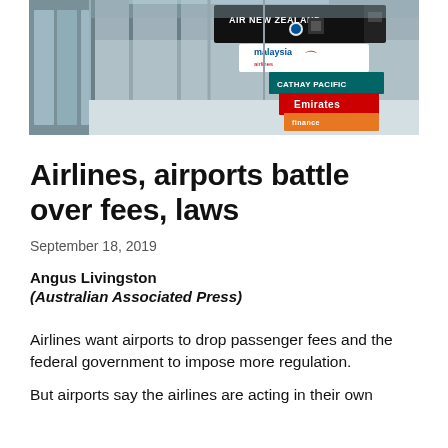[Figure (photo): Airport terminal interior with airline signs visible including Air New Zealand, Malaysia Airlines, Cathay Pacific, Emirates, and others hanging from the ceiling]
Airlines, airports battle over fees, laws
September 18, 2019
Angus Livingston
(Australian Associated Press)
Airlines want airports to drop passenger fees and the federal government to impose more regulation.
But airports say the airlines are acting in their own